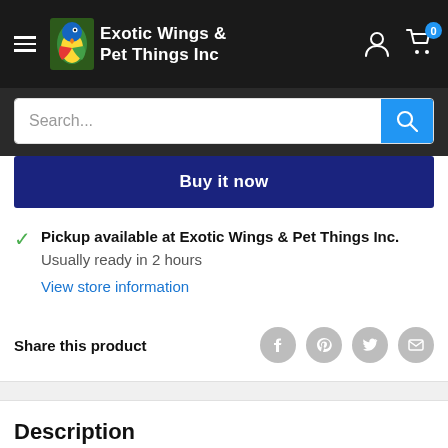Exotic Wings & Pet Things Inc
Search...
Buy it now
Pickup available at Exotic Wings & Pet Things Inc.
Usually ready in 2 hours
View store information
Share this product
Description